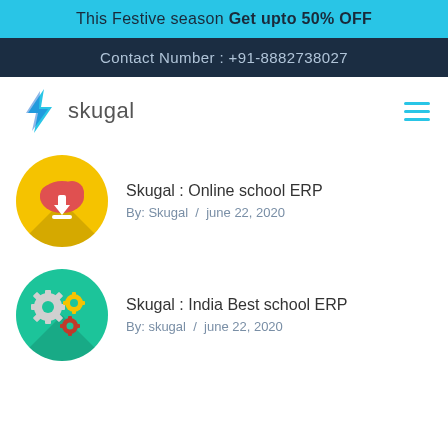This Festive season Get upto 50% OFF
Contact Number : +91-8882738027
[Figure (logo): Skugal logo with blue lightning bolt icon and text 'skugal']
Skugal : Online school ERP
By: Skugal / june 22, 2020
Skugal : India Best school ERP
By: skugal / june 22, 2020